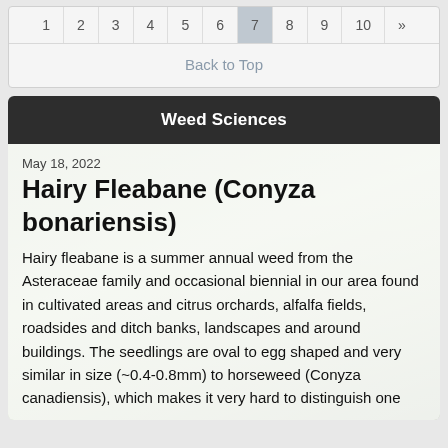1 2 3 4 5 6 7 8 9 10 »
Back to Top
Weed Sciences
May 18, 2022
Hairy Fleabane (Conyza bonariensis)
Hairy fleabane is a summer annual weed from the Asteraceae family and occasional biennial in our area found in cultivated areas and citrus orchards, alfalfa fields, roadsides and ditch banks, landscapes and around buildings. The seedlings are oval to egg shaped and very similar in size (~0.4-0.8mm) to horseweed (Conyza canadiensis), which makes it very hard to distinguish one